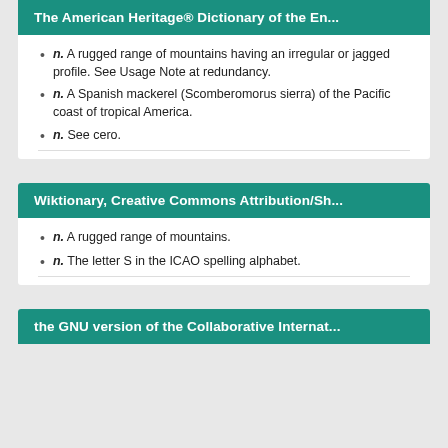The American Heritage® Dictionary of the En...
n. A rugged range of mountains having an irregular or jagged profile. See Usage Note at redundancy.
n. A Spanish mackerel (Scomberomorus sierra) of the Pacific coast of tropical America.
n. See cero.
Wiktionary, Creative Commons Attribution/Sh...
n. A rugged range of mountains.
n. The letter S in the ICAO spelling alphabet.
the GNU version of the Collaborative Internat...